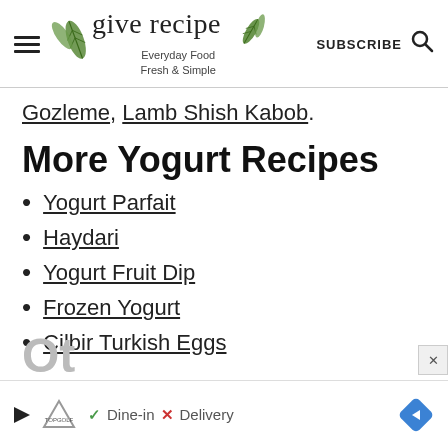give recipe — Everyday Food Fresh & Simple — SUBSCRIBE
Gozleme, Lamb Shish Kabob.
More Yogurt Recipes
Yogurt Parfait
Haydari
Yogurt Fruit Dip
Frozen Yogurt
Cilbir Turkish Eggs
[Figure (screenshot): Advertisement banner for TopGolf showing Dine-in and Delivery options with a navigation arrow]